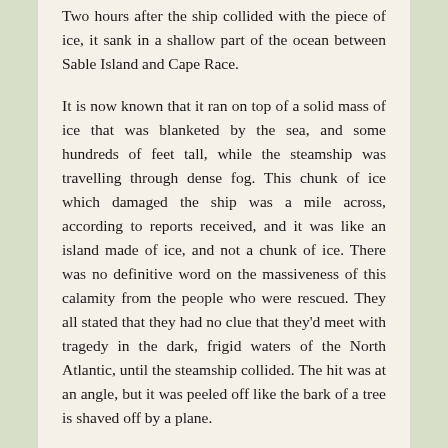Two hours after the ship collided with the piece of ice, it sank in a shallow part of the ocean between Sable Island and Cape Race.
It is now known that it ran on top of a solid mass of ice that was blanketed by the sea, and some hundreds of feet tall, while the steamship was travelling through dense fog. This chunk of ice which damaged the ship was a mile across, according to reports received, and it was like an island made of ice, and not a chunk of ice. There was no definitive word on the massiveness of this calamity from the people who were rescued. They all stated that they had no clue that they'd meet with tragedy in the dark, frigid waters of the North Atlantic, until the steamship collided. The hit was at an angle, but it was peeled off like the bark of a tree is shaved off by a plane.
Advertisements
[Figure (other): Advertisement box showing the word 'Professionally' in large bold serif font]